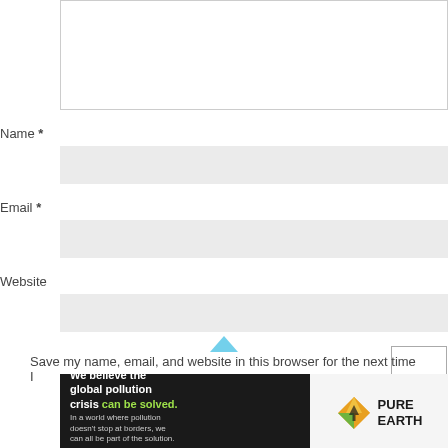[Figure (screenshot): Comment text area input field (empty, resizable)]
Name *
[Figure (screenshot): Name input field (light gray background)]
Email *
[Figure (screenshot): Email input field (light gray background)]
Website
[Figure (screenshot): Website input field (light gray background)]
[Figure (screenshot): Checkbox (unchecked)]
Save my name, email, and website in this browser for the next time I
[Figure (infographic): Pure Earth advertisement banner: 'We believe the global pollution crisis can be solved. In a world where pollution doesn't stop at borders, we can all be part of the solution. JOIN US.' with Pure Earth logo on right.]